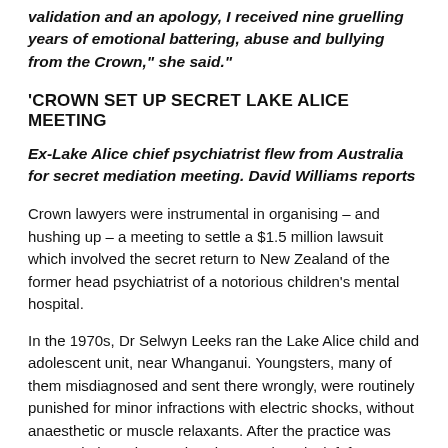validation and an apology, I received nine gruelling years of emotional battering, abuse and bullying from the Crown," she said."
'CROWN SET UP SECRET LAKE ALICE MEETING
Ex-Lake Alice chief psychiatrist flew from Australia for secret mediation meeting. David Williams reports
Crown lawyers were instrumental in organising – and hushing up – a meeting to settle a $1.5 million lawsuit which involved the secret return to New Zealand of the former head psychiatrist of a notorious children's mental hospital.
In the 1970s, Dr Selwyn Leeks ran the Lake Alice child and adolescent unit, near Whanganui. Youngsters, many of them misdiagnosed and sent there wrongly, were routinely punished for minor infractions with electric shocks, without anaesthetic or muscle relaxants. After the practice was exposed, the unit was shut down and Leeks left for Australia.